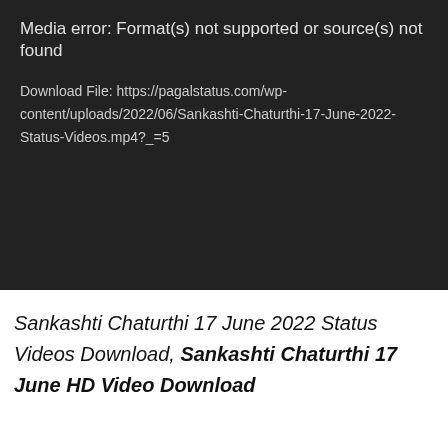[Figure (screenshot): Media player error screen with dark background showing error text: 'Media error: Format(s) not supported or source(s) not found' and download file URL]
Sankashti Chaturthi 17 June 2022 Status Videos Download, Sankashti Chaturthi 17 June HD Video Download
[Figure (other): Green DOWNLOAD button with dark navy rounded rectangle background, and a grey scroll-to-top arrow button on the right]